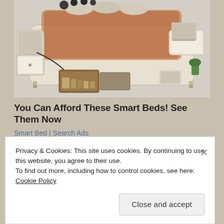[Figure (photo): A large multi-functional smart bed with cream/beige upholstery, showing built-in storage drawers, a massage chair attachment on the left side, speakers, and various compartments. Shown in a showroom-style perspective view.]
You Can Afford These Smart Beds! See Them Now
Smart Bed | Search Ads
SHARE THIS:
Privacy & Cookies: This site uses cookies. By continuing to use this website, you agree to their use.
To find out more, including how to control cookies, see here: Cookie Policy
Close and accept